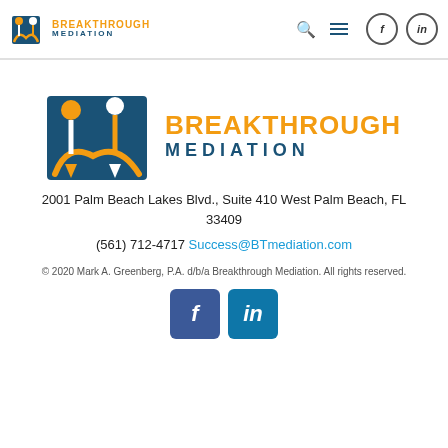Breakthrough Mediation — navigation bar with logo, search, menu, Facebook and LinkedIn icons
[Figure (logo): Breakthrough Mediation large logo with two figures forming an M shape on blue background, with orange and dark blue BREAKTHROUGH MEDIATION text]
2001 Palm Beach Lakes Blvd., Suite 410 West Palm Beach, FL 33409
(561) 712-4717 Success@BTmediation.com
© 2020 Mark A. Greenberg, P.A. d/b/a Breakthrough Mediation. All rights reserved.
[Figure (logo): Facebook and LinkedIn square icon buttons in blue]